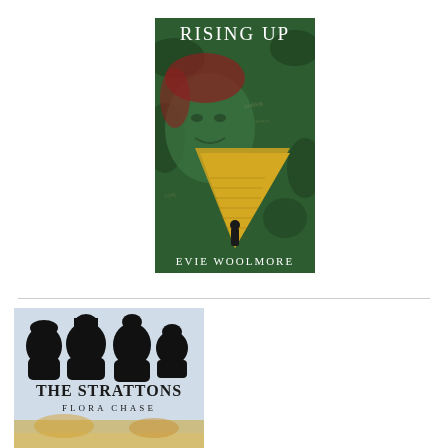[Figure (illustration): Book cover for 'Rising Up' by Evie Woolmore. Dark green and gold atmospheric cover showing a ghostly face with red hair, a figure standing before a glowing golden pyramid shape covered in handwritten text, against a dark green foliage background. Title 'RISING UP' at top in white serif letters, author 'EVIE WOOLMORE' at bottom in white serif letters.]
[Figure (illustration): Book cover for 'The Strattons' by Flora Chase. Shows black silhouettes of four people's heads/profiles against a light blue background. Below the silhouettes the title 'THE STRATTONS' in dark decorative serif font and 'FLORA CHASE' in smaller capitals beneath it. The bottom portion shows what appears to be a colorful scene.]